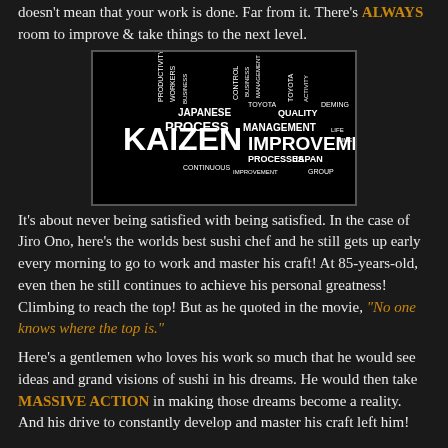doesn't mean that your work is done. Far from it. There's ALWAYS room to improve & take things to the next level.
[Figure (illustration): Word cloud centered on the word KAIZEN and IMPROVEMENT on a black background, with related words like PROCESS, JAPANESE, MANAGEMENT, QUALITY, TOYOTA, JAPAN, PRODUCTIVITY, CONTROL, DEMING, etc.]
It's about never being satisfied with being satisfied. In the case of Jiro Ono, here's the worlds best sushi chef and he still gets up early every morning to go to work and master his craft! At 85-years-old, even then he still continues to achieve his personal greatness! Climbing to reach the top! But as he quoted in the movie, "No one knows where the top is."
Here's a gentlemen who loves his work so much that he would see ideas and grand visions of sushi in his dreams. He would then take MASSIVE ACTION in making those dreams become a reality. And his drive to constantly develop and master his craft left him!